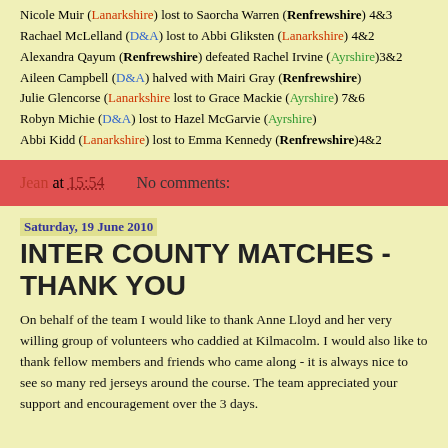Nicole Muir (Lanarkshire) lost to Saorcha Warren (Renfrewshire) 4&3
Rachael McLelland (D&A) lost to Abbi Gliksten (Lanarkshire) 4&2
Alexandra Qayum (Renfrewshire) defeated Rachel Irvine (Ayrshire)3&2
Aileen Campbell (D&A) halved with Mairi Gray (Renfrewshire)
Julie Glencorse (Lanarkshire lost to Grace Mackie (Ayrshire) 7&6
Robyn Michie (D&A) lost to Hazel McGarvie (Ayrshire)
Abbi Kidd (Lanarkshire) lost to Emma Kennedy (Renfrewshire)4&2
Jean at 15:54   No comments:
Saturday, 19 June 2010
INTER COUNTY MATCHES - THANK YOU
On behalf of the team I would like to thank Anne Lloyd and her very willing group of volunteers who caddied at Kilmacolm. I would also like to thank fellow members and friends who came along - it is always nice to see so many red jerseys around the course. The team appreciated your support and encouragement over the 3 days.